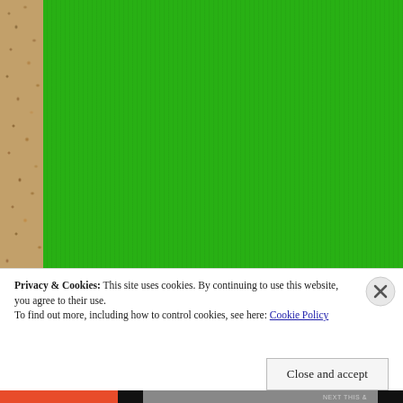[Figure (photo): Close-up photo of a bright green ribbed fabric/clothing item, with a beige/tan shaggy carpet visible on the left side. The green textile has subtle vertical ribbing texture.]
Privacy & Cookies: This site uses cookies. By continuing to use this website, you agree to their use.
To find out more, including how to control cookies, see here: Cookie Policy
Close and accept